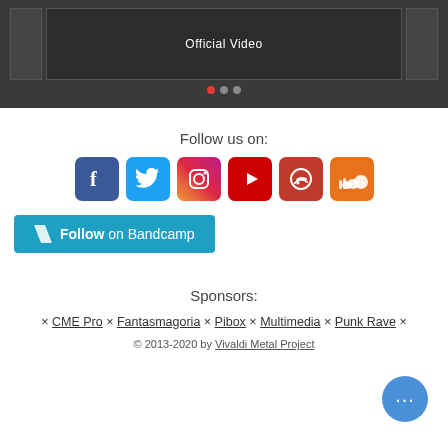[Figure (screenshot): Video player showing 'Official Video' text on dark background with carousel dots below (red active dot and two grey dots)]
Follow us on:
[Figure (infographic): Six social media icon buttons: Facebook (blue), Twitter (light blue), Instagram (pink/gradient), YouTube (red), a podcast/RSS service (dark red), SoundCloud (orange)]
[Figure (infographic): Bandcamp follow button in teal/cyan color with Bandcamp logo parallelogram icon and text 'Follow on Bandcamp']
Sponsors:
× CME Pro × Fantasmagoria × Pibox × Multimedia × Punk Rave ×
© 2013-2020 by Vivaldi Metal Project